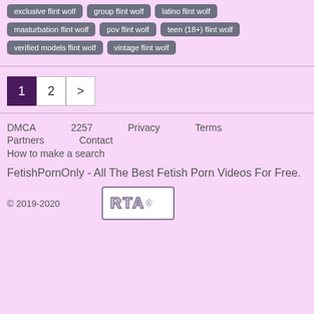exclusive flint wolf
group flint wolf
latino flint wolf
masturbation flint wolf
pov flint wolf
teen (18+) flint wolf
verified models flint wolf
vintage flint wolf
1  2  >
DMCA  2257  Privacy  Terms  Partners  Contact  How to make a search
FetishPornOnly - All The Best Fetish Porn Videos For Free.
© 2019-2020  RTA®